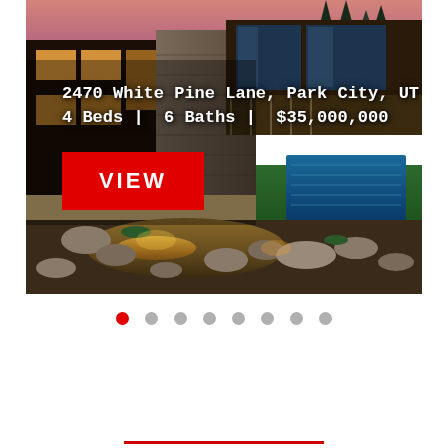[Figure (photo): Aerial/exterior dusk view of a modern luxury home at 2470 White Pine Lane, Park City, UT, featuring dark wood and stone facade, large glass windows, an outdoor pool, landscaped yard with pond/water feature, rocks, and pine trees in background. Text overlay shows address, bed/bath count, price, and a red VIEW button.]
2470 White Pine Lane, Park City, UT
4 Beds |  6 Baths |  $35,000,000
VIEW
● ○ ○ ○ ○ ○ ○ ○ (pagination dots, 8 total, first active)